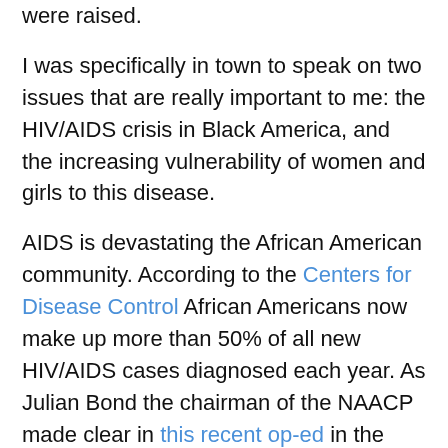were raised.
I was specifically in town to speak on two issues that are really important to me: the HIV/AIDS crisis in Black America, and the increasing vulnerability of women and girls to this disease.
AIDS is devastating the African American community. According to the Centers for Disease Control African Americans now make up more than 50% of all new HIV/AIDS cases diagnosed each year. As Julian Bond the chairman of the NAACP made clear in this recent op-ed in the Washington Post "AIDS is now in our house. It's now our problem, and we must come up with solutions."